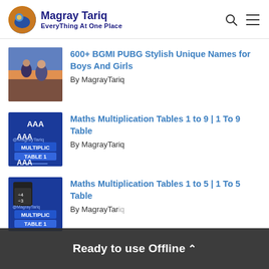Magray Tariq — EveryThing At One Place
[Figure (illustration): Thumbnail image for BGMI PUBG article showing game characters]
600+ BGMI PUBG Stylish Unique Names for Boys And Girls
By MagrayTariq
[Figure (illustration): Thumbnail image for Maths Multiplication Tables 1 to 9 article, blue background with AAA and table graphic]
Maths Multiplication Tables 1 to 9 | 1 To 9 Table
By MagrayTariq
[Figure (illustration): Thumbnail image for Maths Multiplication Tables 1 to 5 article, blue background with calculator and table graphic]
Maths Multiplication Tables 1 to 5 | 1 To 5 Table
By MagrayTariq
Ready to use Offline